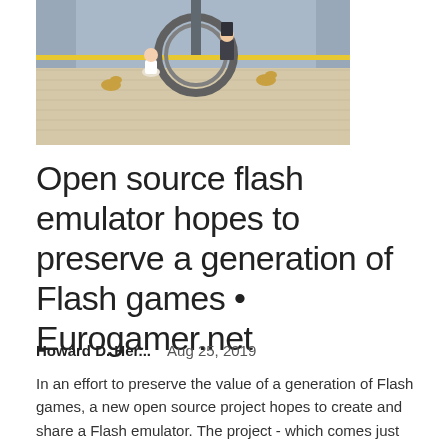[Figure (screenshot): Screenshot of a colorful isometric Flash game showing cartoon characters and a circular obstacle on a tiled floor]
Open source flash emulator hopes to preserve a generation of Flash games • Eurogamer.net
Howard D. Her...    Aug 25, 2019
In an effort to preserve the value of a generation of Flash games, a new open source project hopes to create and share a Flash emulator. The project - which comes just weeks after Adobe announced its intention to "end-of-life Flash"...
[Figure (screenshot): Adobe Flash Player logo — red gradient background with white stylized 'f' letter]